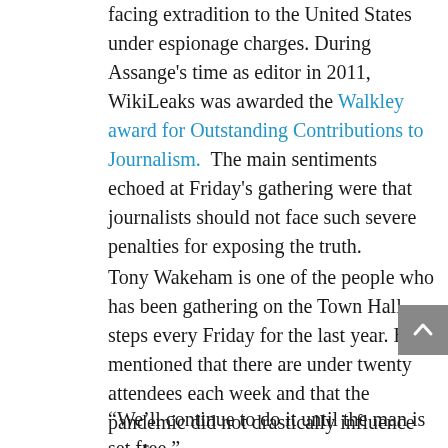facing extradition to the United States under espionage charges. During Assange's time as editor in 2011, WikiLeaks was awarded the Walkley award for Outstanding Contributions to Journalism.  The main sentiments echoed at Friday's gathering were that journalists should not face such severe penalties for exposing the truth.
Tony Wakeham is one of the people who has been gathering on the Town Hall steps every Friday for the last year. He mentioned that there are under twenty attendees each week and that the pandemic did not drastically influence numbers.
“We’ll continue to do it until the man is set free,”